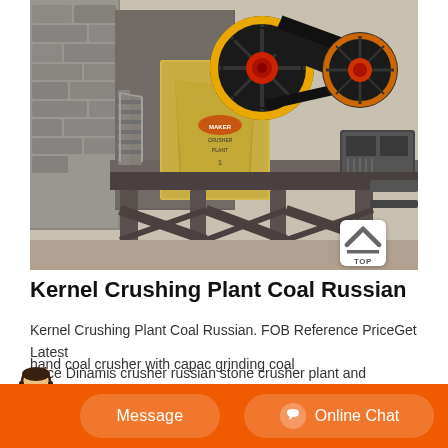[Figure (photo): Industrial jaw crusher / crushing plant machine elevated on steel frame structure, with large flywheel pulleys and belt drive, set outdoors with stone wall and stairs visible in background.]
Kernel Crushing Plant Coal Russian
Kernel Crushing Plant Coal Russian. FOB Reference PriceGet Latest Price Dinamis crusher russian stone crusher plant and shapping coal
hand coal crusher with capac grinding coal